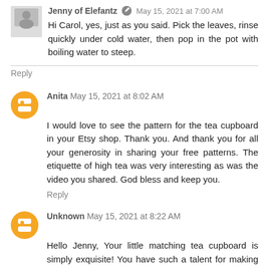Jenny of Elefantz  May 15, 2021 at 7:00 AM
Hi Carol, yes, just as you said. Pick the leaves, rinse quickly under cold water, then pop in the pot with boiling water to steep.
Reply
Anita  May 15, 2021 at 8:02 AM
I would love to see the pattern for the tea cupboard in your Etsy shop. Thank you. And thank you for all your generosity in sharing your free patterns. The etiquette of high tea was very interesting as was the video you shared. God bless and keep you.
Reply
Unknown  May 15, 2021 at 8:22 AM
Hello Jenny, Your little matching tea cupboard is simply exquisite! You have such a talent for making the most